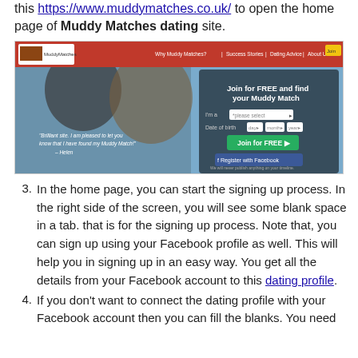this [link] to open the home page of Muddy Matches dating site.
[Figure (screenshot): Screenshot of the Muddy Matches dating site home page showing a man and woman smiling, a red navigation bar with 'Why Muddy Matches?', 'Success Stories', 'Dating Advice', 'About Us', a 'Join for FREE' button, and Facebook registration option.]
3. In the home page, you can start the signing up process. In the right side of the screen, you will see some blank space in a tab. that is for the signing up process. Note that, you can sign up using your Facebook profile as well. This will help you in signing up in an easy way. You get all the details from your Facebook account to this dating profile.
4. If you don't want to connect the dating profile with your Facebook account then you can fill the blanks. You need